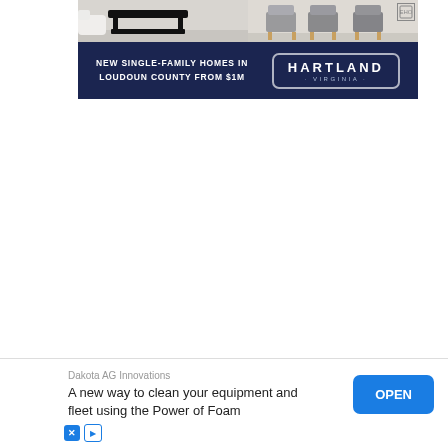[Figure (photo): Two side-by-side product photos: left shows a black coffee table on white background, right shows dining chairs with wooden legs on light floor]
[Figure (infographic): Dark navy blue advertisement banner for Hartland Virginia real estate. Left side text: 'NEW SINGLE-FAMILY HOMES IN LOUDOUN COUNTY FROM $1M'. Right side: Hartland Virginia logo in outlined rounded rectangle.]
[Figure (infographic): Mobile app advertisement at bottom. Company: 'Dakota AG Innovations'. Headline: 'A new way to clean your equipment and fleet using the Power of Foam'. Blue OPEN button on right. Ad disclosure icons (X and play) at bottom left.]